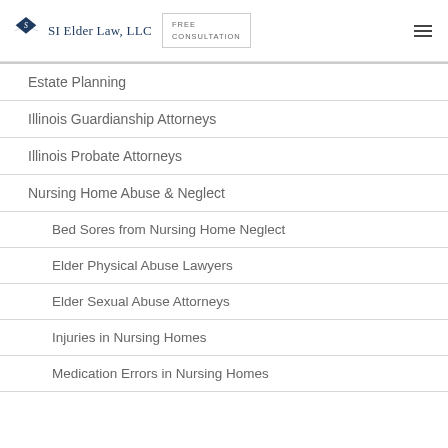SI Elder Law, LLC | FREE CONSULTATION
Estate Planning
Illinois Guardianship Attorneys
Illinois Probate Attorneys
Nursing Home Abuse & Neglect
Bed Sores from Nursing Home Neglect
Elder Physical Abuse Lawyers
Elder Sexual Abuse Attorneys
Injuries in Nursing Homes
Medication Errors in Nursing Homes